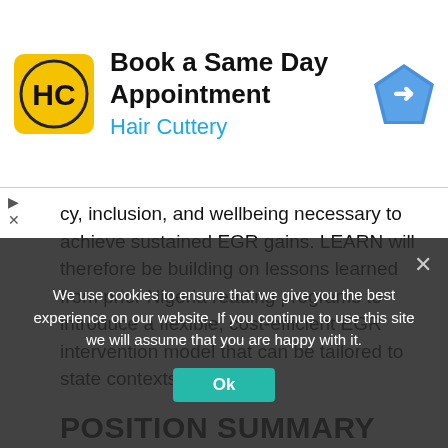[Figure (screenshot): Advertisement banner for Hair Cuttery - 'Book a Same Day Appointment' with HC logo and navigation arrow icon]
cy, inclusion, and wellbeing necessary to achieve sustained EGR gains. LEARN will therefore be building on lessons learned from prior Nigeria reading programs to introduce a flexible, cost-efficient EGR intervention model that can be tailored to state contexts.
POSITION SUMMARY
The Senior Operations Manager is responsible for the management of Human Resources, Office Management, Logistics, procurement, and Technology for the program in the fluid and complex operational environment of LEARN Project in Nigeria.
We use cookies to ensure that we give you the best experience on our website. If you continue to use this site we will assume that you are happy with it.